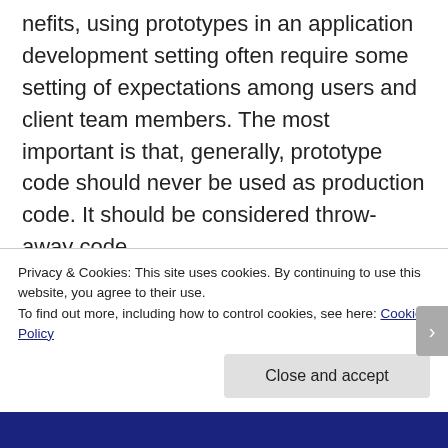nefits, using prototypes in an application development setting often require some setting of expectations among users and client team members. The most important is that, generally, prototype code should never be used as production code. It should be considered throw-away code.

Because they lack graphics and dynamic data, they are generally not considered “final” products. Yet it is easy for both clients and
Privacy & Cookies: This site uses cookies. By continuing to use this website, you agree to their use.
To find out more, including how to control cookies, see here: Cookie Policy
Close and accept